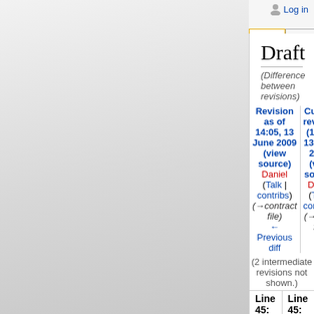Log in
Draft
(Difference between revisions)
Revision as of 14:05, 13 June 2009 (view source)
Daniel (Talk | contribs)
(→contract file)
← Previous diff
Current revision (14:39, 13 June 2009) (view source)
Daniel (Talk | contribs)
(→order file)
(2 intermediate revisions not shown.)
Line 45:
Line 45:
|  |  |
| --- | --- |
| The second part contains the list of the subprocesses the MCP needs. Each line is of the form | The second part contains the list of the subprocesses the MCP needs. Each line is of the form |
| - [TYPE] [in] -> [out] [[PDG]...] [...] | + [in] -> [out] [[PDG]...] [...] |